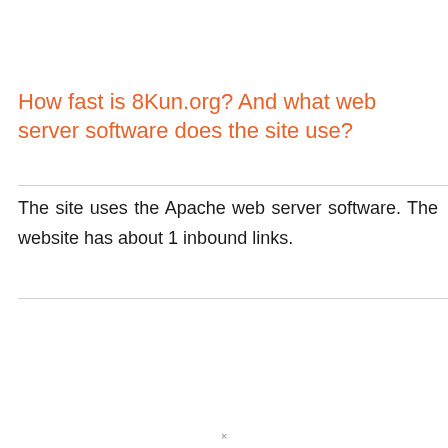How fast is 8Kun.org? And what web server software does the site use?
The site uses the Apache web server software. The website has about 1 inbound links.